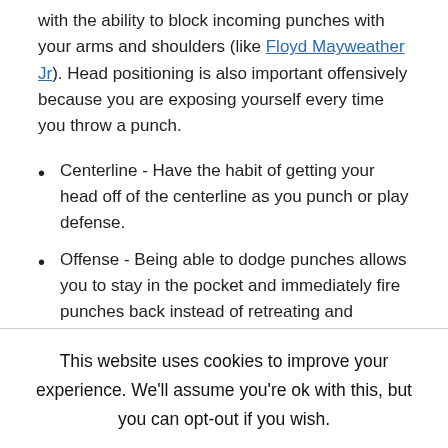with the ability to block incoming punches with your arms and shoulders (like Floyd Mayweather Jr). Head positioning is also important offensively because you are exposing yourself every time you throw a punch.
Centerline - Have the habit of getting your head off of the centerline as you punch or play defense.
Offense - Being able to dodge punches allows you to stay in the pocket and immediately fire punches back instead of retreating and resetting your position again.
Active head movements - You should be able to dodge not just the first punch thrown, but the ones that follow as well. To do so, it is important to combine your ability to slip and roll
This website uses cookies to improve your experience. We'll assume you're ok with this, but you can opt-out if you wish.